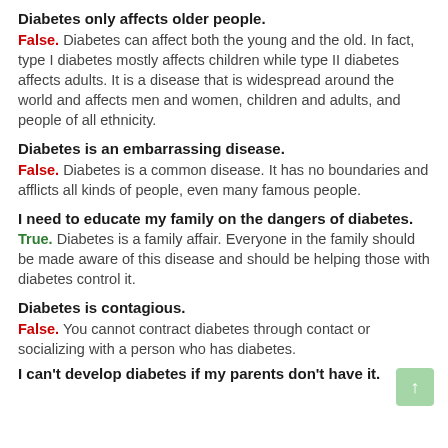Diabetes only affects older people.
False. Diabetes can affect both the young and the old. In fact, type I diabetes mostly affects children while type II diabetes affects adults. It is a disease that is widespread around the world and affects men and women, children and adults, and people of all ethnicity.
Diabetes is an embarrassing disease.
False. Diabetes is a common disease. It has no boundaries and afflicts all kinds of people, even many famous people.
I need to educate my family on the dangers of diabetes.
True. Diabetes is a family affair. Everyone in the family should be made aware of this disease and should be helping those with diabetes control it.
Diabetes is contagious.
False. You cannot contract diabetes through contact or socializing with a person who has diabetes.
I can't develop diabetes if my parents don't have it.